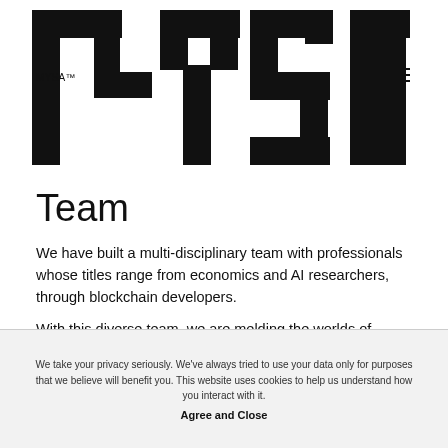[Figure (logo): MYSA logo — large bold geometric/stylized text logo in black on white background with MYSA™ label below left portion]
Team
We have built a multi-disciplinary team with professionals whose titles range from economics and AI researchers, through blockchain developers.
With this diverse team, we are melding the worlds of economic theory, real-life finances, and new-age technology.
We take your privacy seriously. We've always tried to use your data only for purposes that we believe will benefit you. This website uses cookies to help us understand how you interact with it. Agree and Close